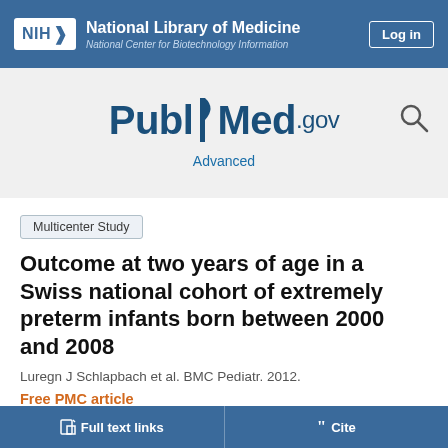NIH National Library of Medicine National Center for Biotechnology Information
[Figure (logo): PubMed.gov logo with search icon and Advanced link]
Multicenter Study
Outcome at two years of age in a Swiss national cohort of extremely preterm infants born between 2000 and 2008
Luregn J Schlapbach et al. BMC Pediatr. 2012.
Free PMC article
Show details
Full text links   Cite